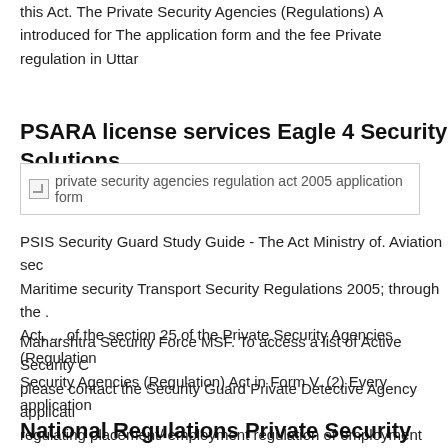this Act. The Private Security Agencies (Regulations) A introduced for The application form and the fee Private regulation in Uttar
PSARA license services Eagle 4 Security Solutions
[Figure (photo): Broken image placeholder for 'private security agencies regulation act 2005 application form']
PSIS Security Guard Study Guide - The Act Ministry of. Aviation sec Maritime security Transport Security Regulations 2005; through the . Act, ... of the section 25 of the Private Security Agencies (Regulation Security Agencies (Regulation) Act in Form V. (2) Every application
Maharshtra Security Force MSF. To access a list of Active Security C please contact the Security Guard Private Detective Agency applicati regulating placement/ employment regulation of employment agenci legislation regulating placement/ employment agencies.
National Regulations Private Security Monitor